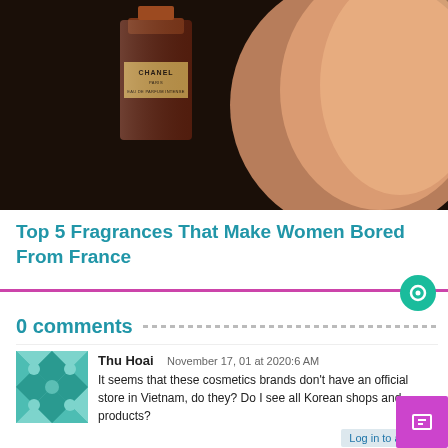[Figure (photo): Chanel perfume bottle advertisement photo with a woman's back visible, dark brown moody background]
Top 5 Fragrances That Make Women Bored From France
[Figure (other): Horizontal pink/magenta divider line with a teal chat bubble icon on the right end]
0 comments
Thu Hoai   November 17, 01 at 2020:6 AM
It seems that these cosmetics brands don't have an official store in Vietnam, do they? Do I see all Korean shops and products?
Tran Thuy Tien